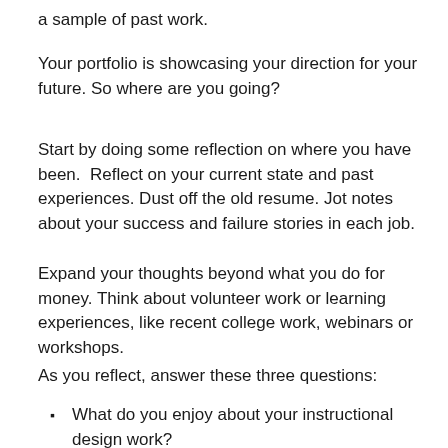a sample of past work.
Your portfolio is showcasing your direction for your future. So where are you going?
Start by doing some reflection on where you have been. Reflect on your current state and past experiences. Dust off the old resume. Jot notes about your success and failure stories in each job.
Expand your thoughts beyond what you do for money. Think about volunteer work or learning experiences, like recent college work, webinars or workshops.
As you reflect, answer these three questions:
What do you enjoy about your instructional design work?